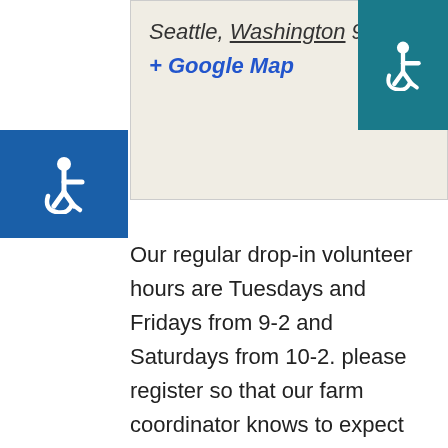Seattle, Washington 98108
+ Google Map
[Figure (illustration): Blue square with white wheelchair accessibility icon (top-right corner)]
[Figure (illustration): Blue square with white wheelchair accessibility icon (left side, mid-page)]
Our regular drop-in volunteer hours are Tuesdays and Fridays from 9-2 and Saturdays from 10-2. please register so that our farm coordinator knows to expect you. All farm volunteers need to fill out an adult volunteer waiver or youth volunteer waiver for their first time volunteering in 2022 Special considerations for COVID-19 Distancing of 6 feet or more will be observed while